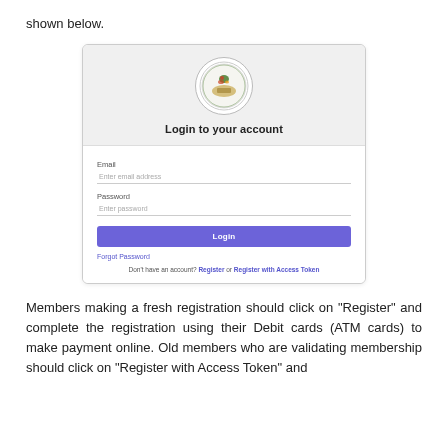shown below.
[Figure (screenshot): Login page screenshot showing a login form with institution logo, Email field, Password field, Login button, Forgot Password link, and registration links.]
Members making a fresh registration should click on “Register” and complete the registration using their Debit cards (ATM cards) to make payment online. Old members who are validating membership should click on “Register with Access Token” and